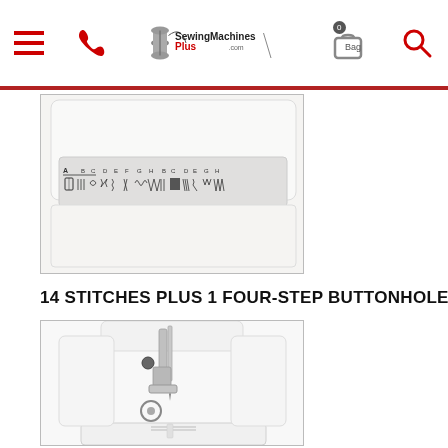SewingMachinesPlus.com - navigation header with hamburger menu, phone, logo, bag, search
[Figure (photo): Close-up of a sewing machine stitch selection panel showing labeled stitch patterns A through H with various stitch types including straight, zigzag, and decorative stitches]
14 STITCHES PLUS 1 FOUR-STEP BUTTONHOLE
[Figure (photo): Close-up photograph of a sewing machine needle area and presser foot mechanism showing chrome needle bar, presser foot, and bobbin area on white machine]